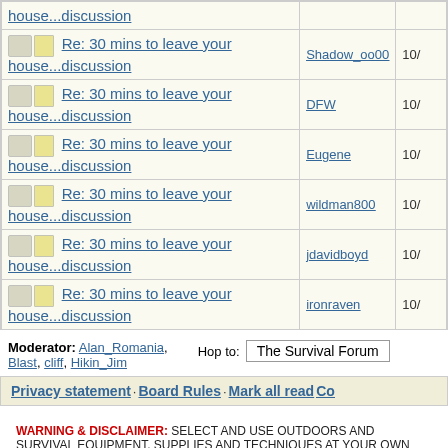| Topic | Author | Date |
| --- | --- | --- |
| Re: 30 mins to leave your house...discussion | Shadow_oo00 | 10/ |
| Re: 30 mins to leave your house...discussion | DFW | 10/ |
| Re: 30 mins to leave your house...discussion | Eugene | 10/ |
| Re: 30 mins to leave your house...discussion | wildman800 | 10/ |
| Re: 30 mins to leave your house...discussion | jdavidboyd | 10/ |
| Re: 30 mins to leave your house...discussion | ironraven | 10/ |
Moderator: Alan_Romania, Blast, cliff, Hikin_Jim   Hop to: The Survival Forum
Privacy statement · Board Rules · Mark all read   Co
WARNING & DISCLAIMER: SELECT AND USE OUTDOORS AND SURVIVAL EQUIPMENT, SUPPLIES AND TECHNIQUES AT YOUR OWN RISK. Information posted on this forum is not reviewed for accuracy and may not be reliable, use at your own risk. Please review the full WARNING & DISCLAIMER about information on this site.
Generated in 0.048 seconds in which 0.010 seconds were spent on a total of 14 queries. Zlib compression enabled.